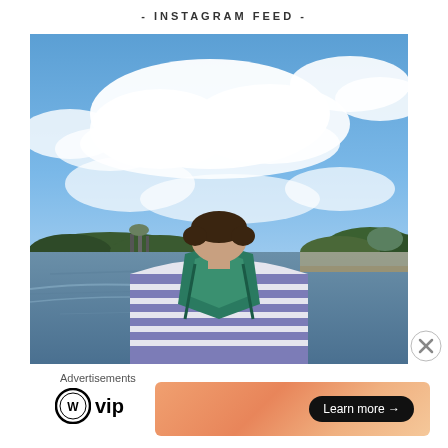- INSTAGRAM FEED -
[Figure (photo): Person seen from behind wearing a striped shirt with a green backpack, looking out over a river with a cityscape and Gothic cathedral in the background under a blue sky with white clouds. Prague, Charles Bridge area.]
[Figure (other): Close (X) button circle icon]
Advertisements
[Figure (logo): WordPress VIP logo — WordPress circle logo followed by 'vip' text]
[Figure (other): Orange gradient banner advertisement with a black pill-shaped 'Learn more →' button]